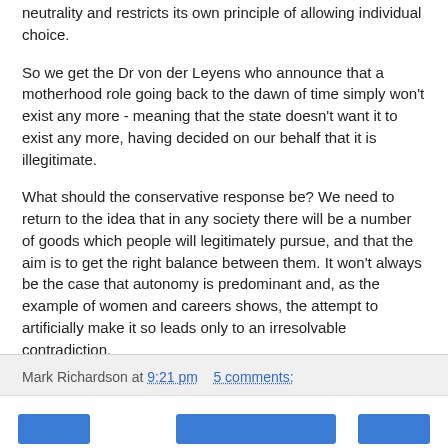neutrality and restricts its own principle of allowing individual choice.
So we get the Dr von der Leyens who announce that a motherhood role going back to the dawn of time simply won't exist any more - meaning that the state doesn't want it to exist any more, having decided on our behalf that it is illegitimate.
What should the conservative response be? We need to return to the idea that in any society there will be a number of goods which people will legitimately pursue, and that the aim is to get the right balance between them. It won't always be the case that autonomy is predominant and, as the example of women and careers shows, the attempt to artificially make it so leads only to an irresolvable contradiction.
Mark Richardson at 9:21 pm   5 comments: